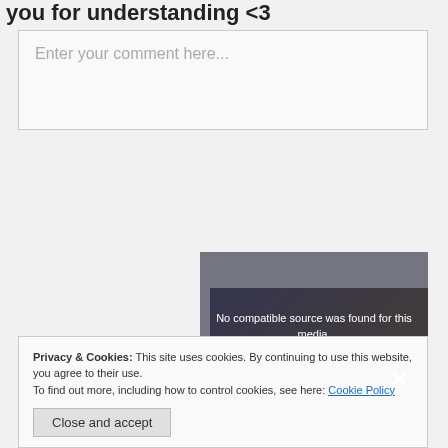you for understanding <3
Enter your comment here...
Privacy & Cookies: This site uses cookies. By continuing to use this website, you agree to their use.
To find out more, including how to control cookies, see here: Cookie Policy
No compatible source was found for this media.
Close and accept
[Figure (screenshot): Gaming thumbnail image with text 'HOW TO MOVE' and 'GAMING THUMBNAIL' overlaid, partially obscured by video player overlay and cookie banner]
GAMING THUMBNAIL